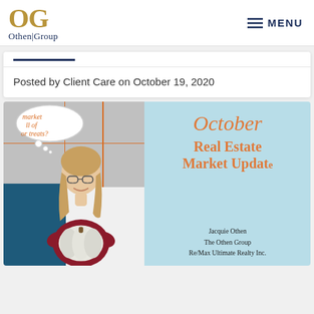[Figure (logo): OG Othen Group logo with gold OG letters and dark blue Othen|Group text]
MENU
Posted by Client Care on October 19, 2020
[Figure (photo): October Real Estate Market Update promotional image. Left side shows a woman with glasses holding a large white pumpkin, with a thought bubble reading 'market full of or treats?', over grey and blue panels. Right side is light blue with text: October Real Estate Market Update, Jacquie Othen, The Othen Group, Re/Max Ultimate Realty Inc.]